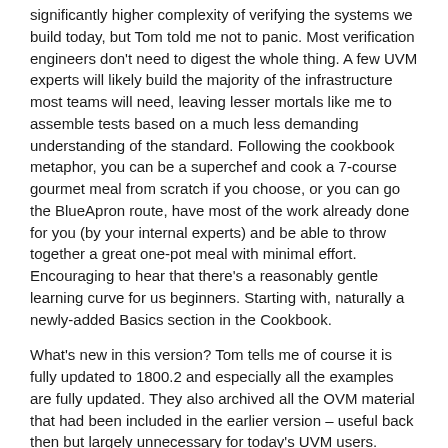significantly higher complexity of verifying the systems we build today, but Tom told me not to panic. Most verification engineers don't need to digest the whole thing. A few UVM experts will likely build the majority of the infrastructure most teams will need, leaving lesser mortals like me to assemble tests based on a much less demanding understanding of the standard. Following the cookbook metaphor, you can be a superchef and cook a 7-course gourmet meal from scratch if you choose, or you can go the BlueApron route, have most of the work already done for you (by your internal experts) and be able to throw together a great one-pot meal with minimal effort. Encouraging to hear that there's a reasonably gentle learning curve for us beginners. Starting with, naturally a newly-added Basics section in the Cookbook.
What's new in this version? Tom tells me of course it is fully updated to 1800.2 and especially all the examples are fully updated. They also archived all the OVM material that had been included in the earlier version – useful back then but largely unnecessary for today's UVM users.
The main point he stressed for this update is a single recommended architecture to support emulation-friendly UVM testbenches. As emulation plays an increasingly important role in system verification, it becomes ever tighter to ensure that testbenches are in sync with misled